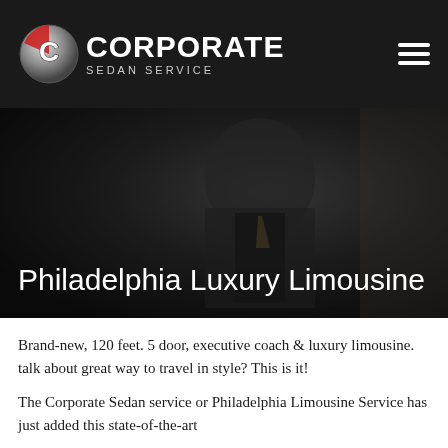Corporate Sedan Service
[Figure (screenshot): Hero image of a man in a dark suit sitting in a luxury car, looking at a phone, with dark blurred background]
Philadelphia Luxury Limousine
Brand-new, 120 feet. 5 door, executive coach & luxury limousine. talk about great way to travel in style? This is it!
The Corporate Sedan service or Philadelphia Limousine Service has just added this state-of-the-art